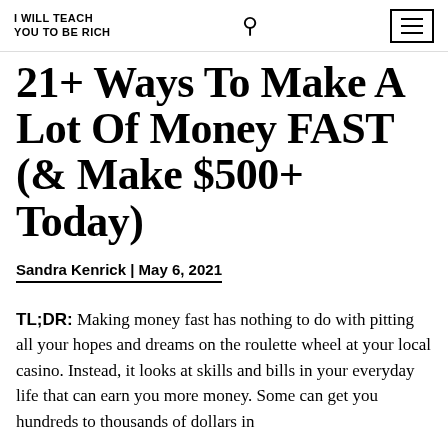I WILL TEACH YOU TO BE RICH
21+ Ways To Make A Lot Of Money FAST (& Make $500+ Today)
Sandra Kenrick | May 6, 2021
TL;DR: Making money fast has nothing to do with pitting all your hopes and dreams on the roulette wheel at your local casino. Instead, it looks at skills and bills in your everyday life that can earn you more money. Some can get you hundreds to thousands of dollars in